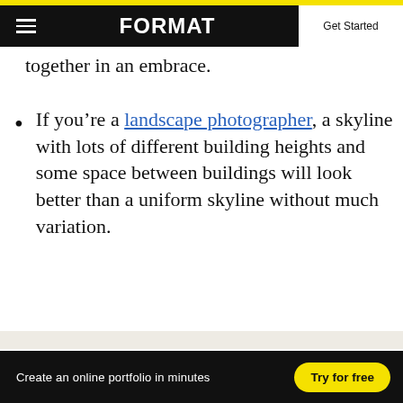FORMAT | Get Started
together in an embrace.
If you're a landscape photographer, a skyline with lots of different building heights and some space between buildings will look better than a uniform skyline without much variation.
[Figure (photo): Partial image placeholder, light beige/gray background visible at bottom of content area]
Create an online portfolio in minutes  Try for free